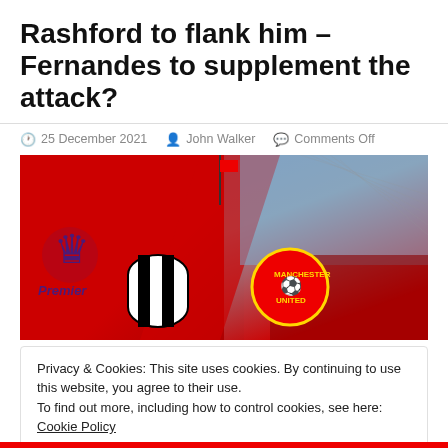Rashford to flank him – Fernandes to supplement the attack?
25 December 2021  John Walker  Comments Off
[Figure (photo): Featured image showing Premier League logo, Newcastle United badge, and Manchester United badge against a red and sky background, likely Old Trafford stadium.]
Privacy & Cookies: This site uses cookies. By continuing to use this website, you agree to their use.
To find out more, including how to control cookies, see here: Cookie Policy
Close and accept